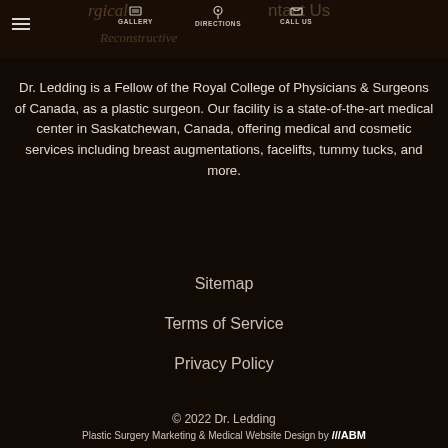GALLERY  DIRECTIONS  CALL US
Dr. Ledding is a Fellow of the Royal College of Physicians & Surgeons of Canada, as a plastic surgeon. Our facility is a state-of-the-art medical center in Saskatchewan, Canada, offering medical and cosmetic services including breast augmentations, facelifts, tummy tucks, and more.
Sitemap
Terms of Service
Privacy Policy
© 2022 Dr. Ledding
Plastic Surgery Marketing & Medical Website Design by ///ABM